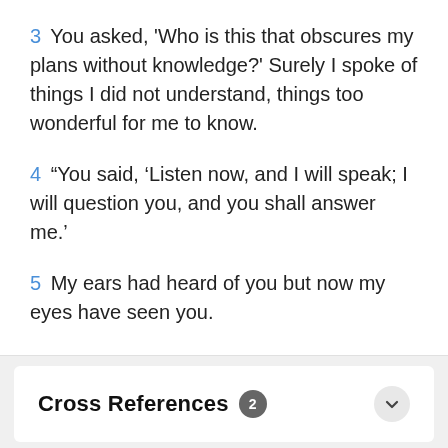3 You asked, 'Who is this that obscures my plans without knowledge?' Surely I spoke of things I did not understand, things too wonderful for me to know.
4 “You said, ‘Listen now, and I will speak; I will question you, and you shall answer me.’
5 My ears had heard of you but now my eyes have seen you.
Cross References 2